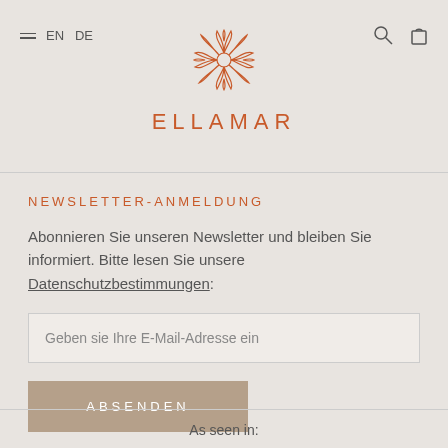[Figure (logo): Ellamar brand logo — orange ornamental flower/hands design above the text ELLAMAR]
NEWSLETTER-ANMELDUNG
Abonnieren Sie unseren Newsletter und bleiben Sie informiert. Bitte lesen Sie unsere Datenschutzbestimmungen:
Geben sie Ihre E-Mail-Adresse ein
ABSENDEN
As seen in: